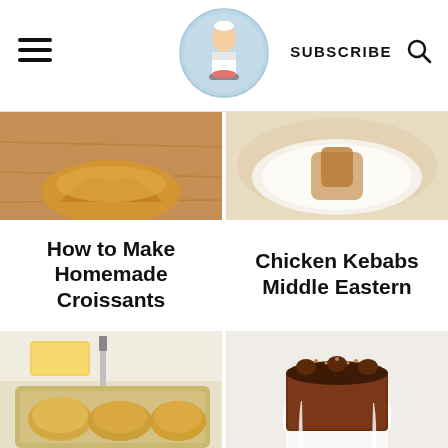SUBSCRIBE
[Figure (photo): Croissant on wooden board - top portion cropped]
[Figure (photo): Chicken kebab on white plate - top portion cropped]
How to Make Homemade Croissants
Chicken Kebabs Middle Eastern
[Figure (photo): Butter rolls in baking pan with knife and butter]
[Figure (photo): Chocolate cake with decorative piping and drizzle]